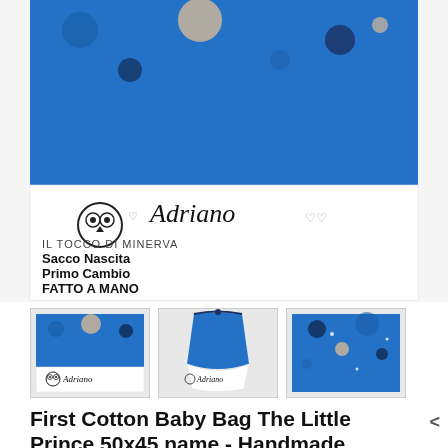[Figure (photo): Main product photo: a baby birth bag (sacco nascita) with blue fabric featuring little prince / astronaut children and planets pattern on top half, white fabric on bottom half with an owl logo, the name 'Adriano' in cursive script with hearts, and printed text reading 'IL TOCCO DI MINERVA Sacco Nascita Primo Cambio FATTO A MANO']
[Figure (photo): Thumbnail 1: flat lay of blue baby fabric with white panel showing logo and name Adriano]
[Figure (photo): Thumbnail 2: drawstring bag pulled closed showing Adriano name and logo on white panel]
[Figure (photo): Thumbnail 3: close-up of blue printed fabric with astronaut/little prince pattern]
First Cotton Baby Bag The Little Prince 50x45 name - Handmade